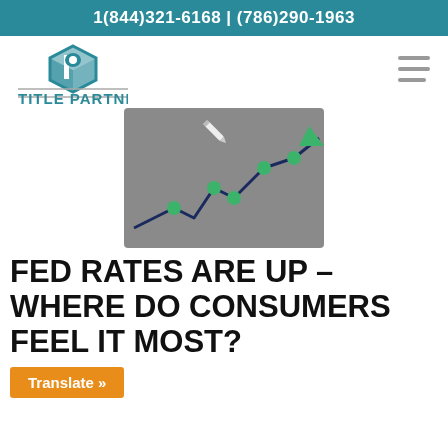1(844)321-6168 | (786)290-1963
[Figure (logo): Title Partners logo with teal geometric icon above the text TITLE PARTNERS]
[Figure (illustration): Gray square illustration showing an upward-trending line chart with green dots and a green arrow, representing rising Fed rates]
FED RATES ARE UP – WHERE DO CONSUMERS FEEL IT MOST?
Translate »